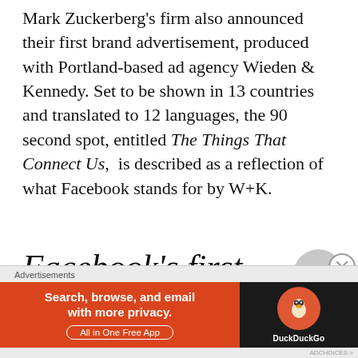Mark Zuckerberg's firm also announced their first brand advertisement, produced with Portland-based ad agency Wieden & Kennedy. Set to be shown in 13 countries and translated to 12 languages, the 90 second spot, entitled The Things That Connect Us, is described as a reflection of what Facebook stands for by W+K.
Facebook's first commercial ever honors the everyday things that people use to get
[Figure (other): Advertisement banner: DuckDuckGo ad — 'Search, browse, and email with more privacy. All in One Free App']